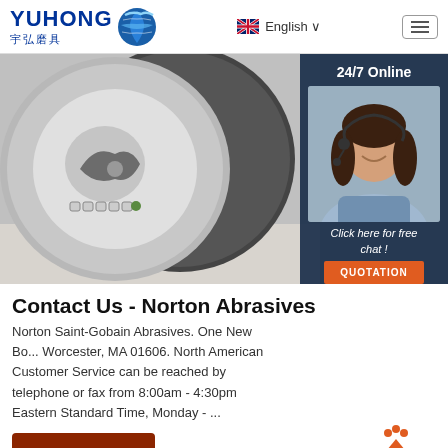YUHONG 宇弘磨具 | English
[Figure (photo): Product photo showing abrasive cutting discs with shark logo label, with sidebar overlay showing a female customer service agent with headset and '24/7 Online' label, 'Click here for free chat!' text, and orange QUOTATION button]
Contact Us - Norton Abrasives
Norton Saint-Gobain Abrasives. One New Bo... Worcester, MA 01606. North American Customer Service can be reached by telephone or fax from 8:00am - 4:30pm Eastern Standard Time, Monday - ...
Get Price
[Figure (infographic): Orange TOP badge with upward arrow and orange dots above it]